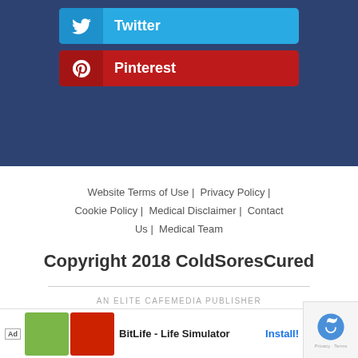[Figure (screenshot): Twitter social share button — light blue button with bird icon and label 'Twitter']
[Figure (screenshot): Pinterest social share button — red button with P icon and label 'Pinterest']
Website Terms of Use | Privacy Policy | Cookie Policy | Medical Disclaimer | Contact Us | Medical Team
Copyright 2018 ColdSoresCured
AN ELITE CAFEMEDIA PUBLISHER
[Figure (screenshot): Ad banner: BitLife - Life Simulator with Install button]